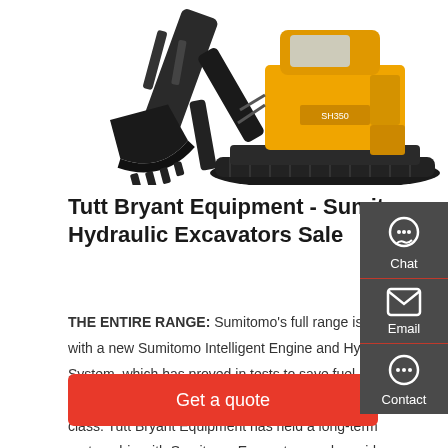[Figure (photo): Two Sumitomo hydraulic excavators — a black attachment/arm on the left and a yellow tracked excavator on the right — shown against a white background.]
Tutt Bryant Equipment - Sumitomo Hydraulic Excavators Sale
THE ENTIRE RANGE: Sumitomo's full range is equipped with a new Sumitomo Intelligent Engine and Hydraulics System, which has proved in tests to save fuel and money over the previous models and against many others in their class. Tutt Bryant Equipment has held a long-term partnership with Sumitomo Excavators and provides unsurpassed technical
Get a quote